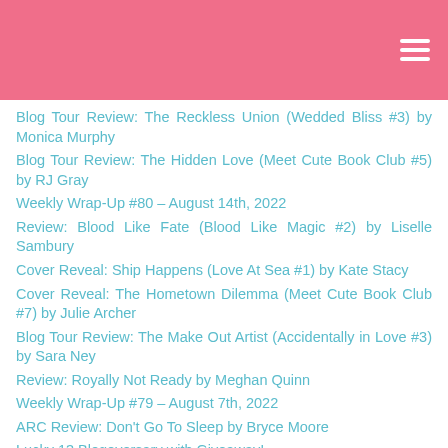Blog Tour Review: The Reckless Union (Wedded Bliss #3) by Monica Murphy
Blog Tour Review: The Hidden Love (Meet Cute Book Club #5) by RJ Gray
Weekly Wrap-Up #80 – August 14th, 2022
Review: Blood Like Fate (Blood Like Magic #2) by Liselle Sambury
Cover Reveal: Ship Happens (Love At Sea #1) by Kate Stacy
Cover Reveal: The Hometown Dilemma (Meet Cute Book Club #7) by Julie Archer
Blog Tour Review: The Make Out Artist (Accidentally in Love #3) by Sara Ney
Review: Royally Not Ready by Meghan Quinn
Weekly Wrap-Up #79 – August 7th, 2022
ARC Review: Don't Go To Sleep by Bryce Moore
Lucky 13 Blogoversary with Giveaway!
Blog Tour Review: The Right Guy (Meet Cute Book Club